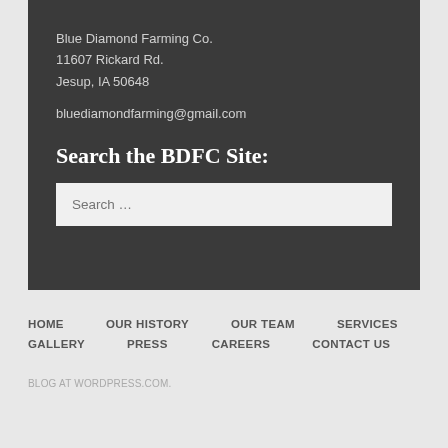Blue Diamond Farming Co.
11607 Rickard Rd.
Jesup, IA 50648
bluediamondfarming@gmail.com
Search the BDFC Site:
Search …
HOME
OUR HISTORY
OUR TEAM
SERVICES
GALLERY
PRESS
CAREERS
CONTACT US
BLOG AT WORDPRESS.COM.